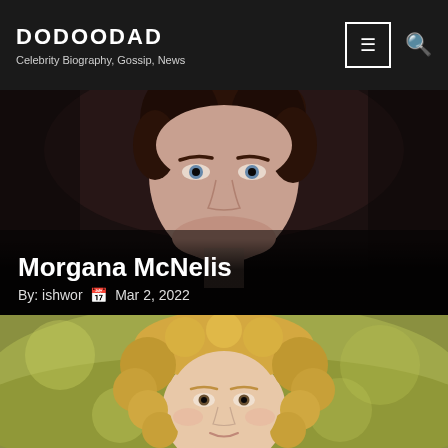DODOODAD — Celebrity Biography, Gossip, News
[Figure (photo): Close-up dark portrait of Morgana McNelis with dark hair and blue eyes against a dark background]
Morgana McNelis
By: ishwor  Mar 2, 2022
[Figure (photo): Close-up portrait of a young woman with curly blonde hair against a soft outdoor background]